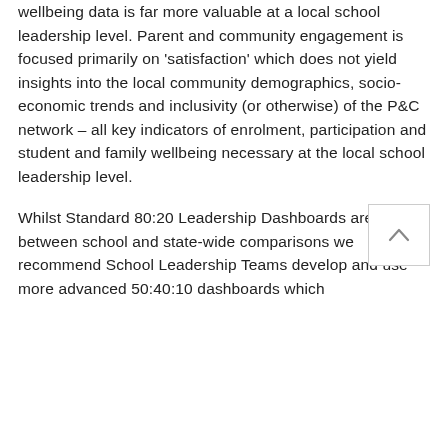wellbeing data is far more valuable at a local school leadership level. Parent and community engagement is focused primarily on 'satisfaction' which does not yield insights into the local community demographics, socio-economic trends and inclusivity (or otherwise) of the P&C network – all key indicators of enrolment, participation and student and family wellbeing necessary at the local school leadership level.
[Figure (other): Scroll-to-top button: a square button with a light border containing an upward-pointing chevron arrow icon]
Whilst Standard 80:20 Leadership Dashboards are fine for between school and state-wide comparisons we recommend School Leadership Teams develop and use more advanced 50:40:10 dashboards which